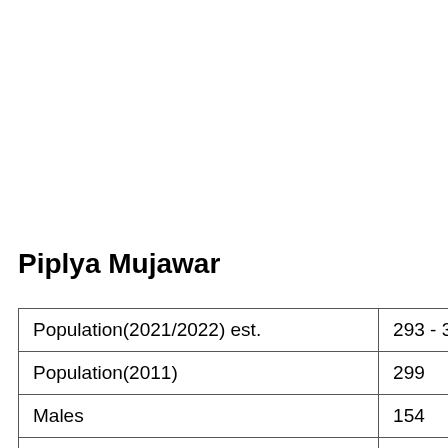Piplya Mujawar
| Population(2021/2022) est. | 293 - 335 |
| Population(2011) | 299 |
| Males | 154 |
| Females | 145 |
| Households | 66 |